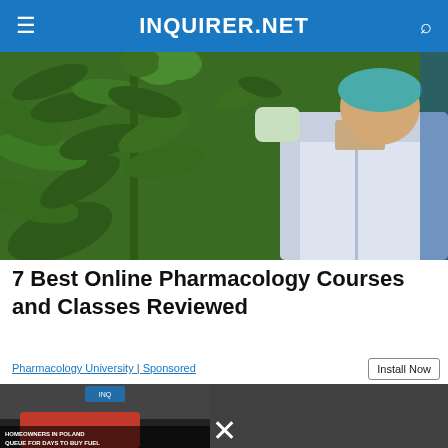INQUIRER.NET
[Figure (photo): A scientist/researcher in a white lab coat and teal hair net holding cannabis/hemp plant cuttings in a greenhouse or indoor growing facility]
7 Best Online Pharmacology Courses and Classes Reviewed
Pharmacology University | Sponsored
Install Now
[Figure (other): Video player showing 'Homeowners in Poland queue for days to buy fuel' news clip with error message overlay: The media could not be loaded, either because the server or network failed or because the format is not supported.]